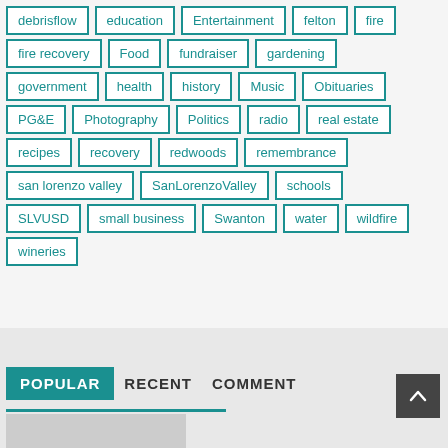debrisflow
education
Entertainment
felton
fire
fire recovery
Food
fundraiser
gardening
government
health
history
Music
Obituaries
PG&E
Photography
Politics
radio
real estate
recipes
recovery
redwoods
remembrance
san lorenzo valley
SanLorenzoValley
schools
SLVUSD
small business
Swanton
water
wildfire
wineries
POPULAR  RECENT  COMMENT